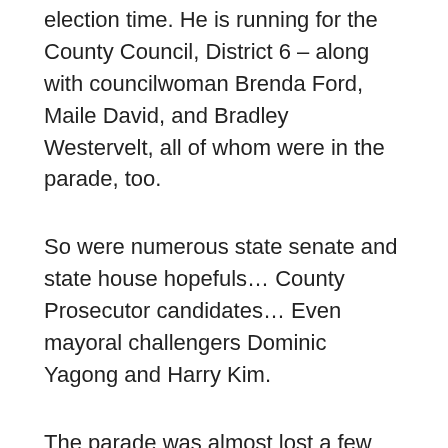election time. He is running for the County Council, District 6 – along with councilwoman Brenda Ford, Maile David, and Bradley Westervelt, all of whom were in the parade, too.
So were numerous state senate and state house hopefuls… County Prosecutor candidates… Even mayoral challengers Dominic Yagong and Harry Kim.
The parade was almost lost a few years ago. Thanks to Lee, the parade was resurrected at the last minute…